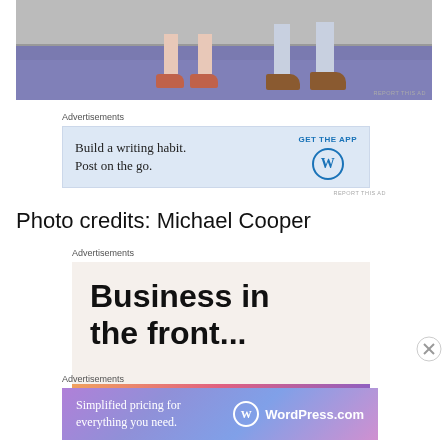[Figure (photo): Bottom portion of two people standing on a stage floor — one person wearing red/brown low-heeled shoes with bare legs, another wearing brown loafers with light blue/gray trousers.]
Advertisements
[Figure (screenshot): Advertisement banner: 'Build a writing habit. Post on the go.' with 'GET THE APP' button and WordPress logo on light blue background.]
REPORT THIS AD
Photo credits: Michael Cooper
Advertisements
[Figure (screenshot): Advertisement banner reading 'Business in the front...' in large bold text on a light beige background with a colorful gradient bar at bottom.]
Advertisements
[Figure (screenshot): Advertisement banner: 'Simplified pricing for everything you need.' with WordPress.com logo on purple-pink gradient background.]